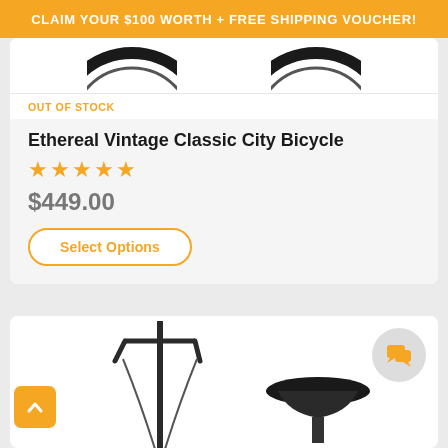CLAIM YOUR $100 WORTH + FREE SHIPPING VOUCHER!
[Figure (photo): Partial view of two bicycle wheels cropped at top of product card]
OUT OF STOCK
Ethereal Vintage Classic City Bicycle
★★★★★
$449.00
Select Options
[Figure (photo): Partial view of a bicycle showing handlebar/fork on left and saddle on right, bottom of page]